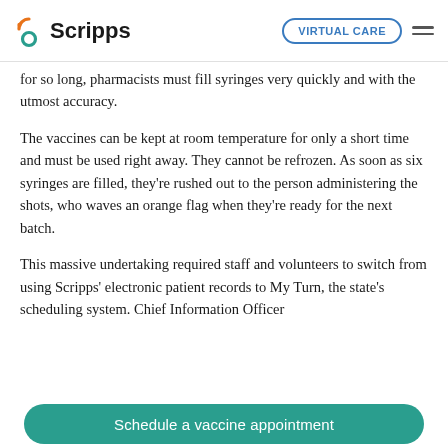Scripps | VIRTUAL CARE
for so long, pharmacists must fill syringes very quickly and with the utmost accuracy.
The vaccines can be kept at room temperature for only a short time and must be used right away. They cannot be refrozen. As soon as six syringes are filled, they’re rushed out to the person administering the shots, who waves an orange flag when they’re ready for the next batch.
This massive undertaking required staff and volunteers to switch from using Scripps’ electronic patient records to My Turn, the state’s scheduling system. Chief Information Officer
Schedule a vaccine appointment